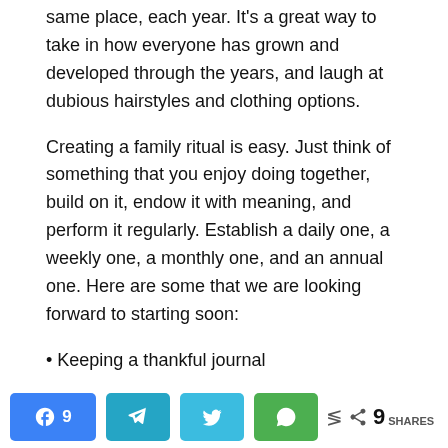same place, each year. It's a great way to take in how everyone has grown and developed through the years, and laugh at dubious hairstyles and clothing options.
Creating a family ritual is easy. Just think of something that you enjoy doing together, build on it, endow it with meaning, and perform it regularly. Establish a daily one, a weekly one, a monthly one, and an annual one. Here are some that we are looking forward to starting soon:
• Keeping a thankful journal
9 shares (Facebook: 9, Telegram, Twitter, WhatsApp)